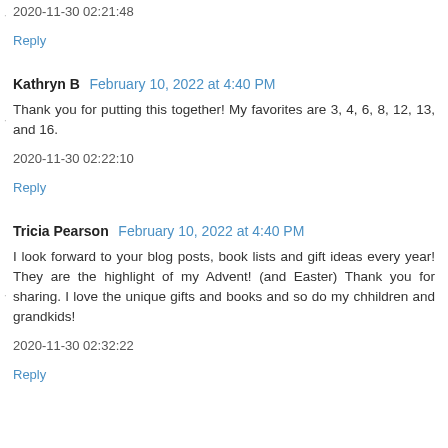2020-11-30 02:21:48
Reply
Kathryn B  February 10, 2022 at 4:40 PM
Thank you for putting this together! My favorites are 3, 4, 6, 8, 12, 13, and 16.
2020-11-30 02:22:10
Reply
Tricia Pearson  February 10, 2022 at 4:40 PM
I look forward to your blog posts, book lists and gift ideas every year! They are the highlight of my Advent! (and Easter) Thank you for sharing. I love the unique gifts and books and so do my chhildren and grandkids!
2020-11-30 02:32:22
Reply